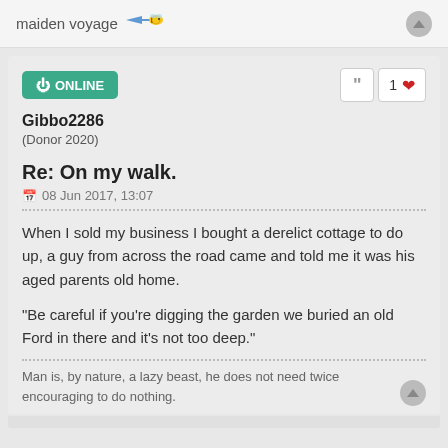maiden voyage
ONLINE
Gibbo2286
(Donor 2020)
Re: On my walk.
08 Jun 2017, 13:07
When I sold my business I bought a derelict cottage to do up, a guy from across the road came and told me it was his aged parents old home.
"Be careful if you're digging the garden we buried an old Ford in there and it's not too deep."
Man is, by nature, a lazy beast, he does not need twice encouraging to do nothing.